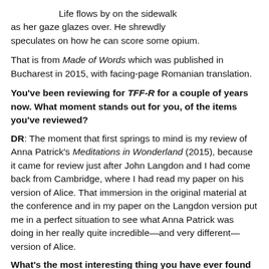Life flows by on the sidewalk as her gaze glazes over. He shrewdly speculates on how he can score some opium.
That is from Made of Words which was published in Bucharest in 2015, with facing-page Romanian translation.
You've been reviewing for TFF-R for a couple of years now. What moment stands out for you, of the items you've reviewed?
DR: The moment that first springs to mind is my review of Anna Patrick's Meditations in Wonderland (2015), because it came for review just after John Langdon and I had come back from Cambridge, where I had read my paper on his version of Alice. That immersion in the original material at the conference and in my paper on the Langdon version put me in a perfect situation to see what Anna Patrick was doing in her really quite incredible—and very different—version of Alice.
What's the most interesting thing you have ever found